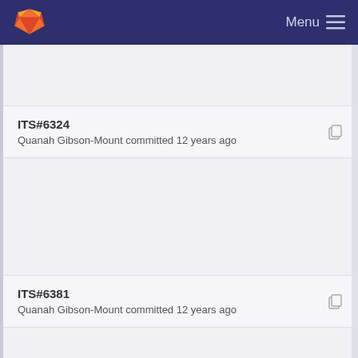Menu
ITS#6324
Quanah Gibson-Mount committed 12 years ago
ITS#6381
Quanah Gibson-Mount committed 12 years ago